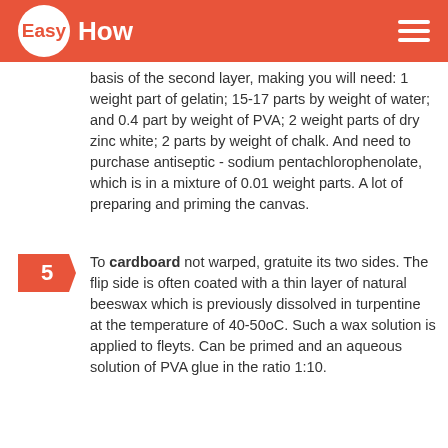EasyHow
basis of the second layer, making you will need: 1 weight part of gelatin; 15-17 parts by weight of water; and 0.4 part by weight of PVA; 2 weight parts of dry zinc white; 2 parts by weight of chalk. And need to purchase antiseptic - sodium pentachlorophenolate, which is in a mixture of 0.01 weight parts. A lot of preparing and priming the canvas.
5 — To cardboard not warped, gratuite its two sides. The flip side is often coated with a thin layer of natural beeswax which is previously dissolved in turpentine at the temperature of 40-50oC. Such a wax solution is applied to fleyts. Can be primed and an aqueous solution of PVA glue in the ratio 1:10.